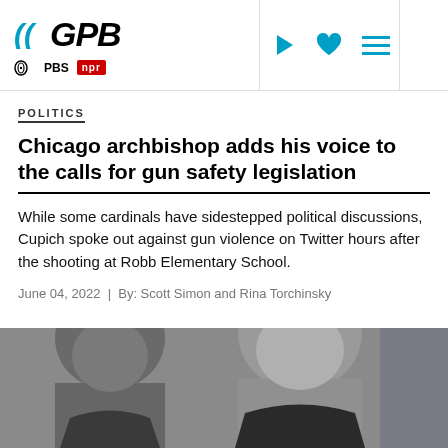GPB | PBS | NPR
POLITICS
Chicago archbishop adds his voice to the calls for gun safety legislation
While some cardinals have sidestepped political discussions, Cupich spoke out against gun violence on Twitter hours after the shooting at Robb Elementary School.
June 04, 2022  |  By: Scott Simon and Rina Torchinsky
[Figure (photo): Two men in dark suits photographed from the shoulders up, gray-haired, slightly blurred background]